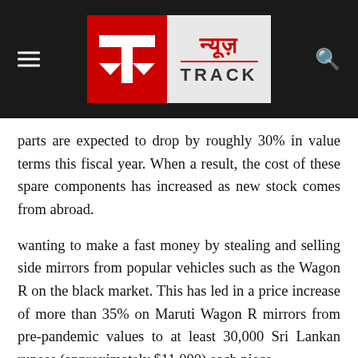News Track logo header
parts are expected to drop by roughly 30% in value terms this fiscal year. When a result, the cost of these spare components has increased as new stock comes from abroad.
wanting to make a fast money by stealing and selling side mirrors from popular vehicles such as the Wagon R on the black market. This has led in a price increase of more than 35% on Maruti Wagon R mirrors from pre-pandemic values to at least 30,000 Sri Lankan rupees (approximately $11,000) each piece.
Sri Lanka's foreign exchange reserves have dropped